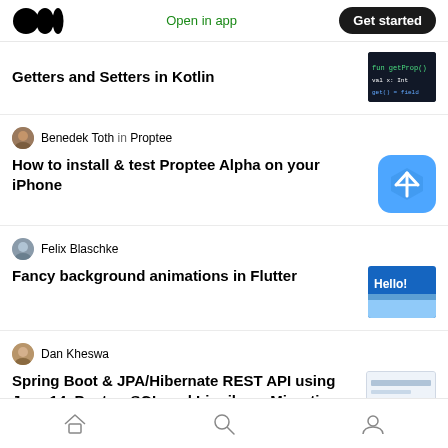Medium logo | Open in app | Get started
Getters and Setters in Kotlin
Benedek Toth in Proptee
How to install & test Proptee Alpha on your iPhone
Felix Blaschke
Fancy background animations in Flutter
Dan Kheswa
Spring Boot & JPA/Hibernate REST API using Java 14, PostgreSQL and Liquibase Migrations.
Home | Search | Profile